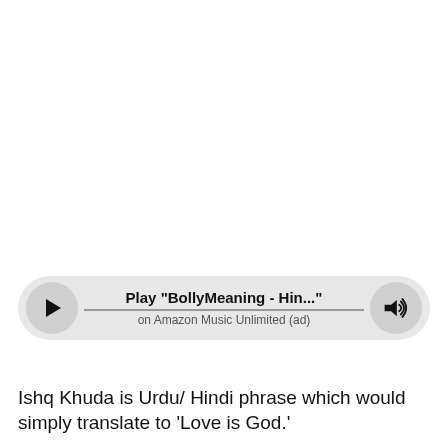[Figure (screenshot): Music player widget with play button, track title 'Play "BollyMeaning - Hin..."', subtitle 'on Amazon Music Unlimited (ad)', a horizontal line, and a volume button.]
Ishq Khuda is Urdu/ Hindi phrase which would simply translate to 'Love is God.'